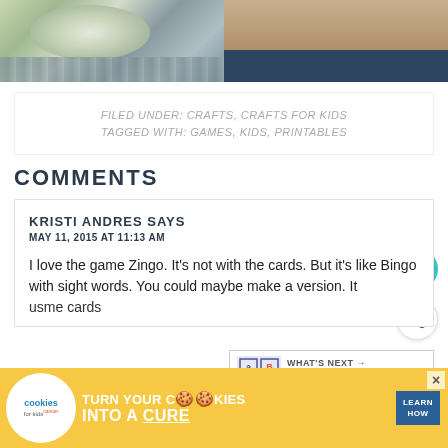[Figure (photo): Left: bowl of dip or salad on wooden surface. Right: child's legs in blue shorts.]
FILED UNDER: CRAFTS, CRAFTS FOR KIDS
TAGGED WITH: GAMES, KIDS, PRINTABLES
COMMENTS
KRISTI ANDRES SAYS
MAY 11, 2015 AT 11:13 AM
I love the game Zingo. It's not with the cards. But it's like Bingo with sight words. You could maybe make a version. It us... me cards
[Figure (screenshot): What's Next widget showing Printable: Number Game]
[Figure (photo): Advertisement banner: cookies for kids cancer - turn your cookies into a CURE - LEARN HOW]